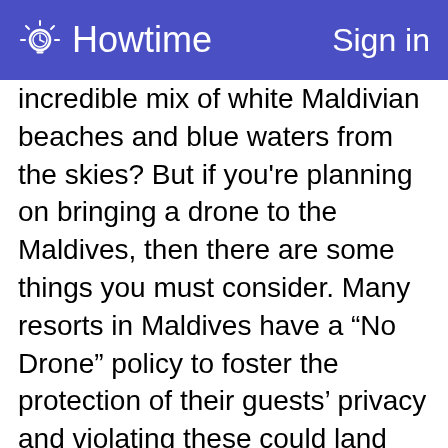Howtime   Sign in
incredible mix of white Maldivian beaches and blue waters from the skies? But if you're planning on bringing a drone to the Maldives, then there are some things you must consider. Many resorts in Maldives have a “No Drone” policy to foster the protection of their guests’ privacy and violating these could land you in serious trouble. So the major travel tips for Maldives will always tell you to check with your resort if they would allow you to fly drones on the island that you're staying